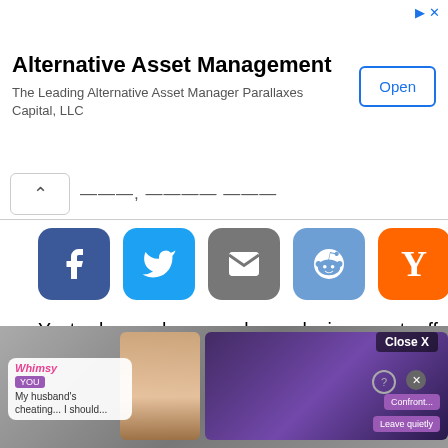[Figure (screenshot): Advertisement banner for Alternative Asset Management - Parallaxes Capital LLC with Open button]
[Figure (screenshot): Collapsed article header bar with chevron up arrow and partial date text]
[Figure (infographic): Social share buttons: Facebook, Twitter, Email, Reddit, Hacker News (Y Combinator)]
Yesterday, a homemade explosive went off with a loud noise in a residential area in Busan. Fortunately, there were no casualties, and a man in his 40s who was arrested stated that he was able to make explosives through the Internet.
[Figure (screenshot): Advertisement banner at bottom showing a game/interactive story app with characters and dialog options including 'My husband's cheating... I should...' with Confront and Leave quietly buttons. Close X button visible.]